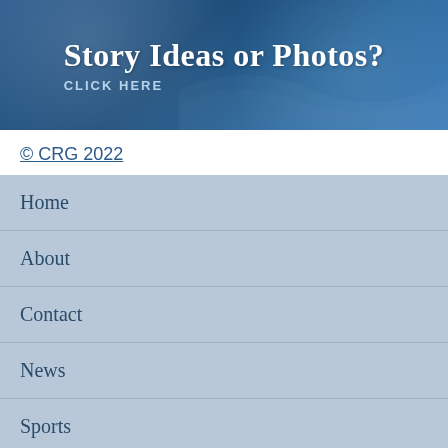[Figure (illustration): Banner with dark blue gradient background, decorative wave/bubble design, large white serif text 'Story Ideas or Photos?' and smaller spaced text 'CLICK HERE' below]
© CRG 2022
Home
About
Contact
News
Sports
Opinion
Features